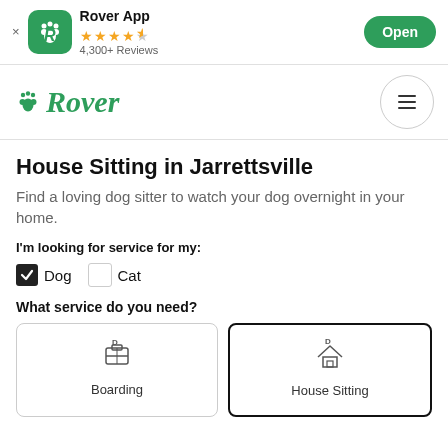[Figure (screenshot): App store banner for Rover App showing green icon, 4.5 star rating, 4,300+ Reviews, and Open button]
[Figure (logo): Rover brand logo in green italic font with paw print icon, and hamburger menu icon]
House Sitting in Jarrettsville
Find a loving dog sitter to watch your dog overnight in your home.
I'm looking for service for my:
Dog (checked), Cat (unchecked)
What service do you need?
[Figure (screenshot): Two service selection cards: Boarding (unselected) and House Sitting (selected with bold border), each with icon and label]